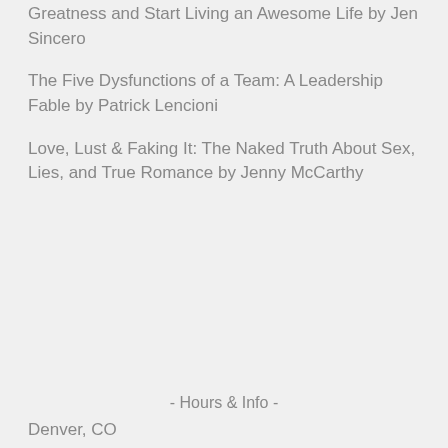Greatness and Start Living an Awesome Life by Jen Sincero
The Five Dysfunctions of a Team: A Leadership Fable by Patrick Lencioni
Love, Lust & Faking It: The Naked Truth About Sex, Lies, and True Romance by Jenny McCarthy
- Hours & Info -
Denver, CO